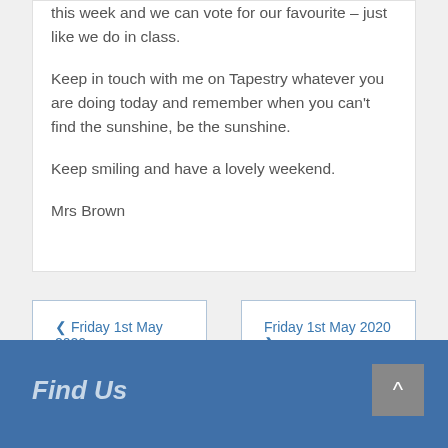this week and we can vote for our favourite – just like we do in class.

Keep in touch with me on Tapestry whatever you are doing today and remember when you can't find the sunshine, be the sunshine.

Keep smiling and have a lovely weekend.

Mrs Brown
‹ Friday 1st May 2020
Friday 1st May 2020 ›
Find Us